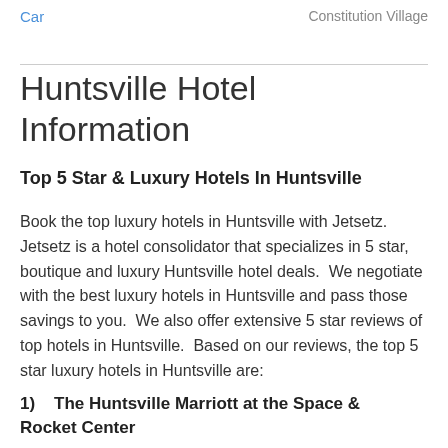Car   Constitution Village
Huntsville Hotel Information
Top 5 Star & Luxury Hotels In Huntsville
Book the top luxury hotels in Huntsville with Jetsetz. Jetsetz is a hotel consolidator that specializes in 5 star, boutique and luxury Huntsville hotel deals.  We negotiate with the best luxury hotels in Huntsville and pass those savings to you.  We also offer extensive 5 star reviews of top hotels in Huntsville.  Based on our reviews, the top 5 star luxury hotels in Huntsville are:
1)   The Huntsville Marriott at the Space & Rocket Center